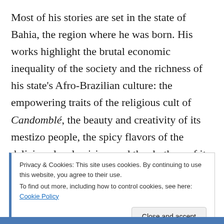Most of his stories are set in the state of Bahia, the region where he was born. His works highlight the brutal economic inequality of the society and the richness of his state's Afro-Brazilian culture: the empowering traits of the religious cult of Candomblé, the beauty and creativity of its mestizo people, the spicy flavors of the delicious local cuisine, and the rhythms of its music and local dance/martial art (capoeira).
Privacy & Cookies: This site uses cookies. By continuing to use this website, you agree to their use.
To find out more, including how to control cookies, see here: Cookie Policy
Close and accept